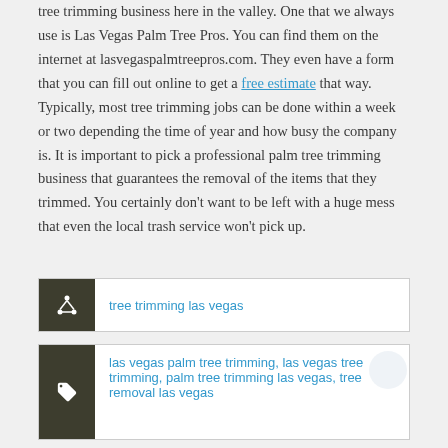tree trimming business here in the valley. One that we always use is Las Vegas Palm Tree Pros. You can find them on the internet at lasvegaspalmtreepros.com. They even have a form that you can fill out online to get a free estimate that way. Typically, most tree trimming jobs can be done within a week or two depending the time of year and how busy the company is. It is important to pick a professional palm tree trimming business that guarantees the removal of the items that they trimmed. You certainly don't want to be left with a huge mess that even the local trash service won't pick up.
tree trimming las vegas
las vegas palm tree trimming, las vegas tree trimming, palm tree trimming las vegas, tree removal las vegas